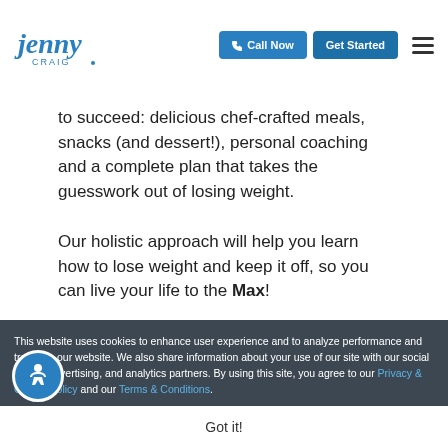[Figure (logo): Jenny Craig logo in blue cursive text]
to succeed: delicious chef-crafted meals, snacks (and dessert!), personal coaching and a complete plan that takes the guesswork out of losing weight.

Our holistic approach will help you learn how to lose weight and keep it off, so you can live your life to the Max!
This website uses cookies to enhance user experience and to analyze performance and traffic on our website. We also share information about your use of our site with our social media, advertising, and analytics partners. By using this site, you agree to our Privacy & Cookie Policy and our Terms & Conditions.
Got it!